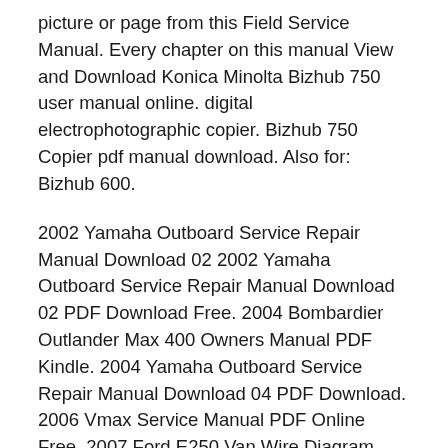picture or page from this Field Service Manual. Every chapter on this manual View and Download Konica Minolta Bizhub 750 user manual online. digital electrophotographic copier. Bizhub 750 Copier pdf manual download. Also for: Bizhub 600.
2002 Yamaha Outboard Service Repair Manual Download 02 2002 Yamaha Outboard Service Repair Manual Download 02 PDF Download Free. 2004 Bombardier Outlander Max 400 Owners Manual PDF Kindle. 2004 Yamaha Outboard Service Repair Manual Download 04 PDF Download. 2006 Vmax Service Manual PDF Online Free. 2007 Ford E250 Van Wire Diagram 2007 Ford E250 Van Wire Diagram PDF Download вЕ' 600 service manual download